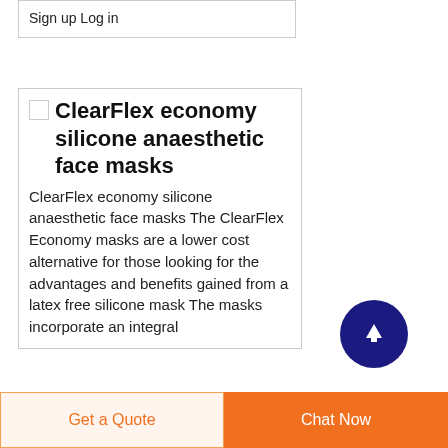Sign up Log in
ClearFlex economy silicone anaesthetic face masks
ClearFlex economy silicone anaesthetic face masks The ClearFlex Economy masks are a lower cost alternative for those looking for the advantages and benefits gained from a latex free silicone mask The masks incorporate an integral
[Figure (illustration): Scroll to top button — dark navy blue circle with upward-pointing arrow icon]
Get a Quote
Chat Now